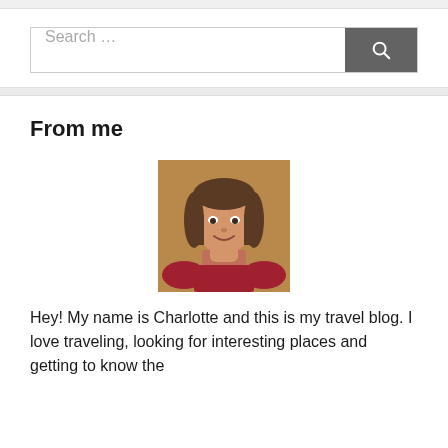[Figure (screenshot): Search bar with text input 'Search ...' and a dark grey search button with magnifying glass icon]
From me
[Figure (photo): Portrait photo of a smiling woman with brown shoulder-length hair, wearing a red top, against a warm brown background]
Hey! My name is Charlotte and this is my travel blog. I love traveling, looking for interesting places and getting to know the